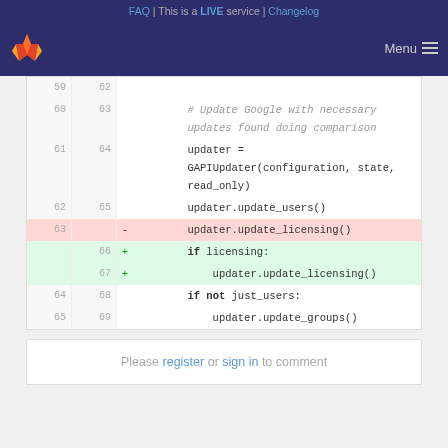FAQ | This is a LIVE service | Changelog
[Figure (screenshot): GitLab logo and navigation menu bar]
Code diff showing lines 59-65 (old) / 62-69 (new). Removed line 63: updater.update_licensing(). Added lines 66-67: if licensing: / updater.update_licensing(). Context: # Update Google with necessary updates found doing comparison / updater = GAPIUpdater(configuration, state, read_only) / updater.update_users() / if not just_users: / updater.update_groups()
Please register or sign in to comment